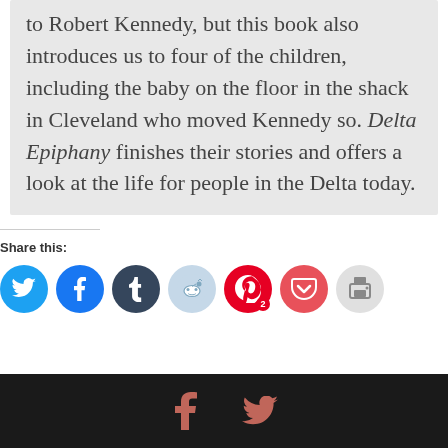to Robert Kennedy, but this book also introduces us to four of the children, including the baby on the floor in the shack in Cleveland who moved Kennedy so. Delta Epiphany finishes their stories and offers a look at the life for people in the Delta today.
Share this:
[Figure (infographic): Social sharing icons: Twitter (blue), Facebook (blue), Tumblr (dark blue), Reddit (light blue), Pinterest (red with badge '2'), Pocket (red), Print (gray)]
[Figure (infographic): Dark footer bar with Facebook 'f' icon and Twitter bird icon in salmon/coral color]